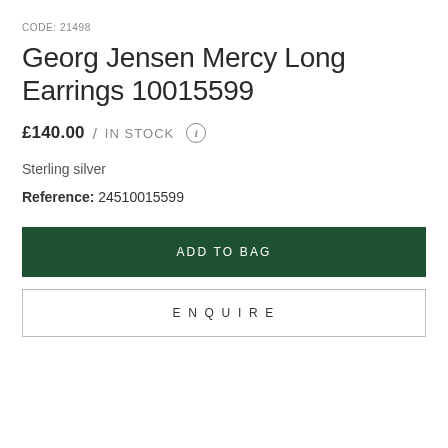CODE: 21498
Georg Jensen Mercy Long Earrings 10015599
£140.00 / IN STOCK ⓘ
Sterling silver
Reference: 24510015599
ADD TO BAG
ENQUIRE